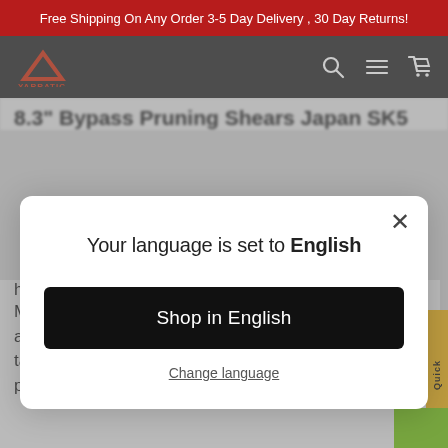Free Shipping On Any Order 3-5 Day Delivery , 30 Day Returns!
[Figure (logo): Yarratic brand logo — red triangle/mountain icon with YARRATIC text below, on black nav bar with search, menu, and cart icons]
8.3" Bypass Pruning Shears Japan SK5
Your language is set to English
Shop in English
Change language
heavy-duty pruner.
Made of high-quality Japan SK5 steel shape blade and ergonomic handle, 3/4 in. cut capacity to easily tackle stems and branches ( 3/4 Inch depends on the plant